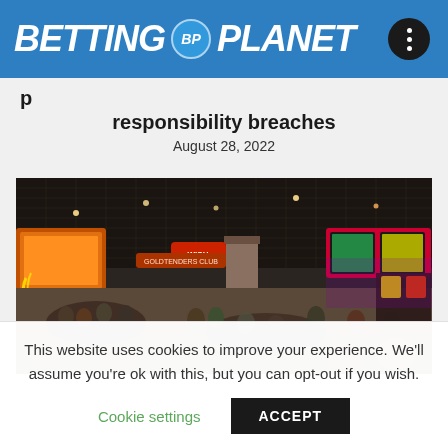BETTING BP PLANET
responsibility breaches
August 28, 2022
[Figure (photo): Interior of a busy casino floor with slot machines, gaming tables, players seated and standing, large display screens overhead, colorful neon lighting.]
This website uses cookies to improve your experience. We'll assume you're ok with this, but you can opt-out if you wish.
Cookie settings   ACCEPT